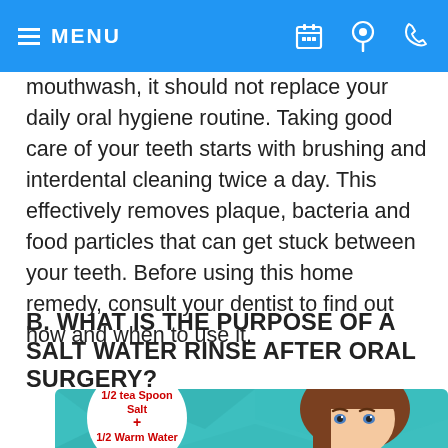MENU
mouthwash, it should not replace your daily oral hygiene routine. Taking good care of your teeth starts with brushing and interdental cleaning twice a day. This effectively removes plaque, bacteria and food particles that can get stuck between your teeth. Before using this home remedy, consult your dentist to find out how and when to use it.
B. WHAT IS THE PURPOSE OF A SALT WATER RINSE AFTER ORAL SURGERY?
[Figure (illustration): Infographic showing a circle with '1/2 tea Spoon Salt + 1/2 Warm Water' in red text on a teal polygonal background, with an illustrated female face on the right side.]